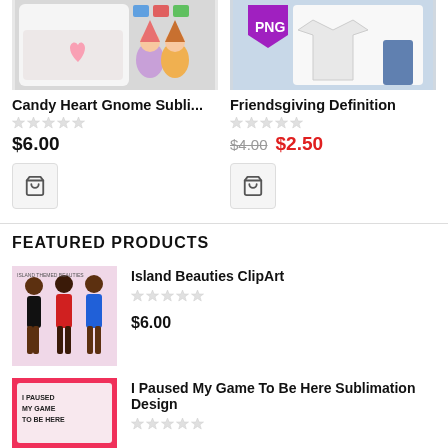[Figure (photo): Candy Heart Gnome product thumbnail - pillow and gnome stickers on white background]
Candy Heart Gnome Subli...
[Figure (other): Five empty star rating icons]
$6.00
[Figure (other): Shopping cart icon button]
[Figure (photo): Friendsgiving Definition product thumbnail - PNG tag and white t-shirt]
Friendsgiving Definition
[Figure (other): Five empty star rating icons]
$4.00 $2.50
[Figure (other): Shopping cart icon button]
FEATURED PRODUCTS
[Figure (photo): Island Beauties ClipArt - three women in colorful outfits]
Island Beauties ClipArt
[Figure (other): Five empty star rating icons]
$6.00
[Figure (photo): I Paused My Game To Be Here Sublimation Design - pink product thumbnail]
I Paused My Game To Be Here Sublimation Design
[Figure (other): Five empty star rating icons]